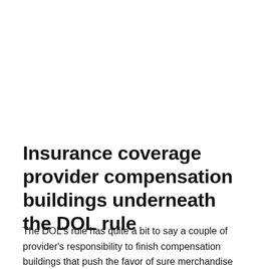Insurance coverage provider compensation buildings underneath the DOL rule
The DOL's rule has quite a bit to say a couple of provider's responsibility to finish compensation buildings that push the favor of sure merchandise over others. If a provider can deliver fee incentives in line, making certain annuities and